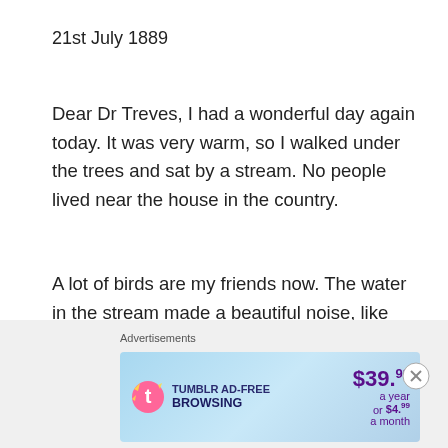21st July 1889
Dear Dr Treves, I had a wonderful day again today. It was very warm, so I walked under the trees and sat by a stream. No people lived near the house in the country.
A lot of birds are my friends now. The water in the stream made a beautiful noise, like singing. Did you know that? I listened to it for two hours. Lots of little birds came near me. One had a red body in front, and a brown back. I gave it some bread, and it sat on my hand. A lot of birds are my friends.
[Figure (other): Tumblr Ad-Free Browsing advertisement banner showing $39.99 a year or $4.99 a month pricing with Tumblr logo]